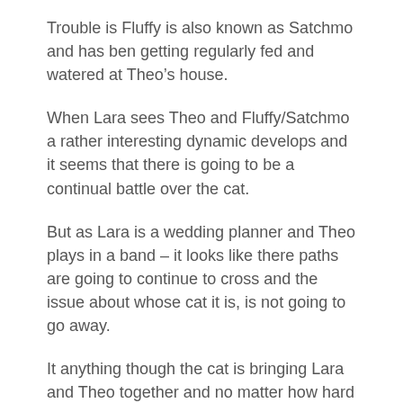Trouble is Fluffy is also known as Satchmo and has ben getting regularly fed and watered at Theo’s house.
When Lara sees Theo and Fluffy/Satchmo a rather interesting dynamic develops and it seems that there is going to be a continual battle over the cat.
But as Lara is a wedding planner and Theo plays in a band – it looks like there paths are going to continue to cross and the issue about whose cat it is, is not going to go away.
It anything though the cat is bringing Lara and Theo together and no matter how hard they try, the organised Lara and laid back Theo seem the perfect fit if only they could be honest with each other.
A wonderful circle which...